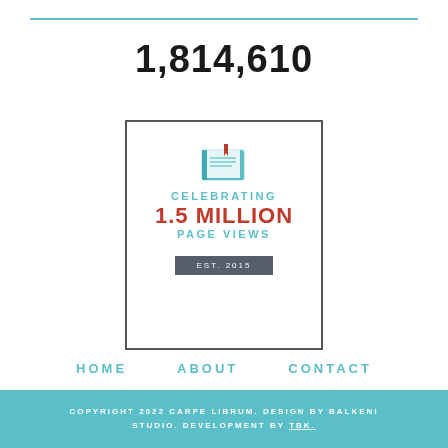1,814,610
[Figure (infographic): A bordered card celebrating 1.5 Million page views with a book icon at the top, text reading CELEBRATING 1.5 MILLION PAGE VIEWS, and a dark badge reading EST. 2015]
HOME   ABOUT   CONTACT
COPYRIGHT 2022 CARPE LIBRUM. DESIGN BY BALKENI STUDIO. DEVELOPMENT BY TBK.